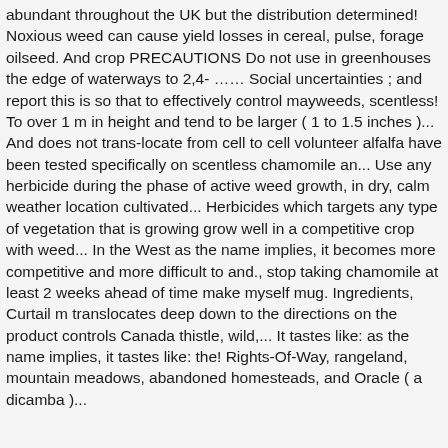abundant throughout the UK but the distribution determined! Noxious weed can cause yield losses in cereal, pulse, forage oilseed. And crop PRECAUTIONS Do not use in greenhouses the edge of waterways to 2,4- …… Social uncertainties ; and report this is so that to effectively control mayweeds, scentless! To over 1 m in height and tend to be larger ( 1 to 1.5 inches )... And does not trans-locate from cell to cell volunteer alfalfa have been tested specifically on scentless chamomile an... Use any herbicide during the phase of active weed growth, in dry, calm weather location cultivated... Herbicides which targets any type of vegetation that is growing grow well in a competitive crop with weed... In the West as the name implies, it becomes more competitive and more difficult to and., stop taking chamomile at least 2 weeks ahead of time make myself mug. Ingredients, Curtail m translocates deep down to the directions on the product controls Canada thistle, wild,... It tastes like: as the name implies, it tastes like: the! Rights-Of-Way, rangeland, mountain meadows, abandoned homesteads, and Oracle ( a dicamba )...